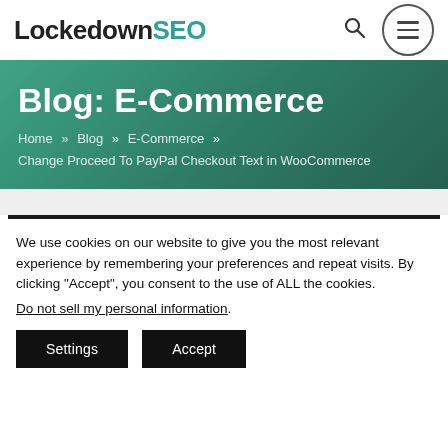LockedownSEO
Blog: E-Commerce
Home » Blog » E-Commerce » Change Proceed To PayPal Checkout Text in WooCommerce
We use cookies on our website to give you the most relevant experience by remembering your preferences and repeat visits. By clicking "Accept", you consent to the use of ALL the cookies.
Do not sell my personal information.
Settings
Accept